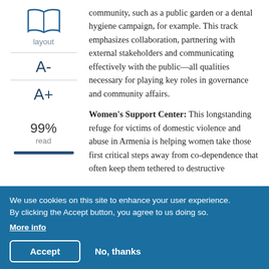[Figure (illustration): Open book icon in blue outline style, with label 'layout' below it]
A-
A+
99% read
community, such as a public garden or a dental hygiene campaign, for example. This track emphasizes collaboration, partnering with external stakeholders and communicating effectively with the public—all qualities necessary for playing key roles in governance and community affairs.
Women's Support Center: This longstanding refuge for victims of domestic violence and abuse in Armenia is helping women take those first critical steps away from co-dependence that often keep them tethered to destructive
We use cookies on this site to enhance your user experience. By clicking the Accept button, you agree to us doing so. More info
Accept
No, thanks